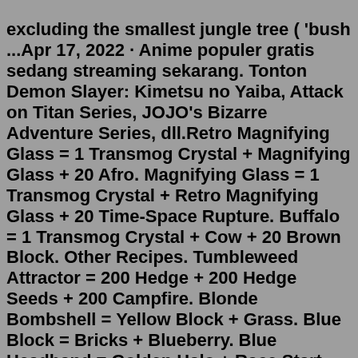excluding the smallest jungle tree ( 'bush ...Apr 17, 2022 · Anime populer gratis sedang streaming sekarang. Tonton Demon Slayer: Kimetsu no Yaiba, Attack on Titan Series, JOJO's Bizarre Adventure Series, dll.Retro Magnifying Glass = 1 Transmog Crystal + Magnifying Glass + 20 Afro. Magnifying Glass = 1 Transmog Crystal + Retro Magnifying Glass + 20 Time-Space Rupture. Buffalo = 1 Transmog Crystal + Cow + 20 Brown Block. Other Recipes. Tumbleweed Attractor = 200 Hedge + 200 Hedge Seeds + 200 Campfire. Blonde Bombshell = Yellow Block + Grass. Blue Block = Bricks + Blueberry. Blue Headband = Golden Halo + Race Start Flag. Blue Portal = High Tech Block + Blue Block. Blue Star Wallpaper = Blue Block + Amber Glass. Blue Wristband = Race Start Flag + Blueberry. Blueberry = Bush + Mushroom. Blueberry Pie = Stove + Blueberry. Yellow Green Aqua Blue Purple Charcoal Splicing The tree of this item can be made by mixing the following seeds: Poppy Seed Rose Seed The Bush is a splicable non-solid foreground block